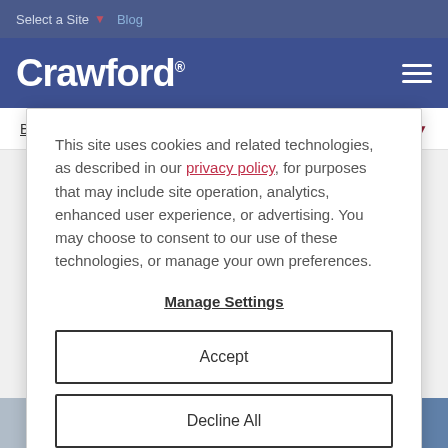Select a Site  Blog
Crawford
Blog / Post   All Categories
This site uses cookies and related technologies, as described in our privacy policy, for purposes that may include site operation, analytics, enhanced user experience, or advertising. You may choose to consent to our use of these technologies, or manage your own preferences.
Manage Settings
Accept
Decline All